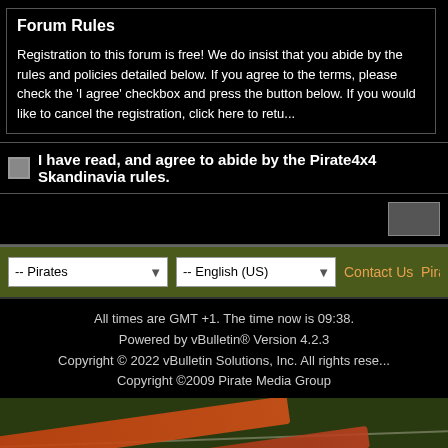Forum Rules
Registration to this forum is free! We do insist that you abide by the rules and policies detailed below. If you agree to the terms, please check the 'I agree' checkbox and press the button below. If you would like to cancel the registration, click here to retu...
I have read, and agree to abide by the Pirate4x4 Skandinavia rules.
[Figure (screenshot): Navigation bar with -- Pirates dropdown, -- English (US) dropdown, and Contact Us Pira... links on olive/dark green background]
All times are GMT +1. The time now is 09:38.
Powered by vBulletin® Version 4.2.3
Copyright © 2022 vBulletin Solutions, Inc. All rights reserved.
Copyright ©2009 Pirate Media Group
[Figure (photo): Dark olive green banner image with orange/red diagonal stripes and a decorative eye emblem in the lower left corner]